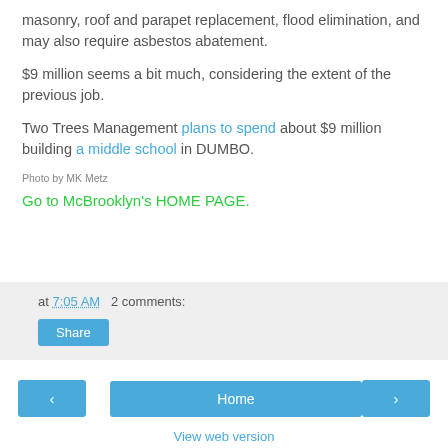masonry, roof and parapet replacement, flood elimination, and may also require asbestos abatement.
$9 million seems a bit much, considering the extent of the previous job.
Two Trees Management plans to spend about $9 million building a middle school in DUMBO.
Photo by MK Metz
Go to McBrooklyn's HOME PAGE.
at 7:05 AM   2 comments:
Share
‹
Home
›
View web version